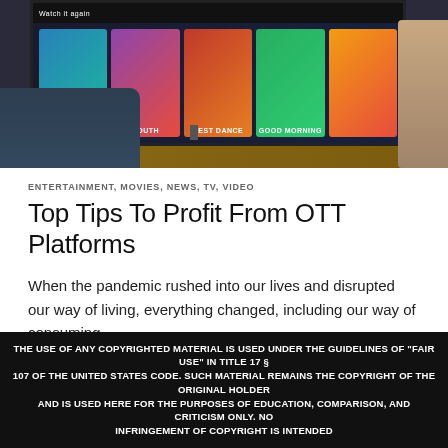[Figure (photo): Person watching a smart TV with streaming content thumbnails, eating popcorn, in a living room setting]
ENTERTAINMENT, MOVIES, NEWS, TV, VIDEO
Top Tips To Profit From OTT Platforms
When the pandemic rushed into our lives and disrupted our way of living, everything changed, including our way of consuming ...
EDITORIAL TEAM | MARCH 21, 2022, 6:00 PM  💬 COMMENTS OFF
🔥 158
THE USE OF ANY COPYRIGHTED MATERIAL IS USED UNDER THE GUIDELINES OF "FAIR USE" IN TITLE 17 § 107 OF THE UNITED STATES CODE. SUCH MATERIAL REMAINS THE COPYRIGHT OF THE ORIGINAL HOLDER AND IS USED HERE FOR THE PURPOSES OF EDUCATION, COMPARISON, AND CRITICISM ONLY. NO INFRINGEMENT OF COPYRIGHT IS INTENDED